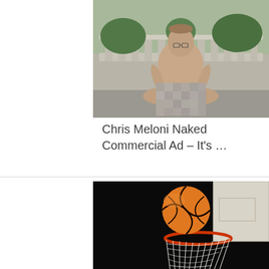[Figure (photo): Shirtless man sitting cross-legged in a meditative pose outdoors near a stone balustrade, with lower body pixelated/blurred for censorship]
Chris Meloni Naked Commercial Ad – It's …
[Figure (photo): Basketball hovering above a basketball hoop/net against a dark/black background, with a backboard visible on the right]